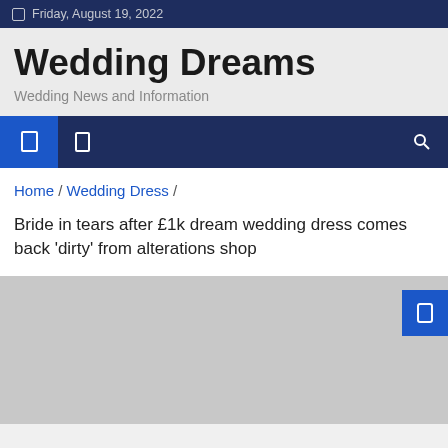Friday, August 19, 2022
Wedding Dreams
Wedding News and Information
Home / Wedding Dress /
Bride in tears after £1k dream wedding dress comes back 'dirty' from alterations shop
[Figure (photo): Image placeholder (light gray rectangle) with a blue button overlay on the top right]